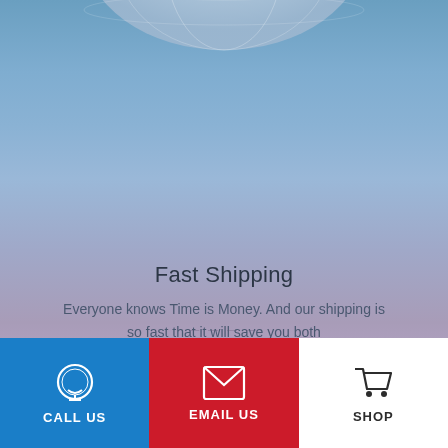[Figure (illustration): Background with blue gradient and globe arc at top]
Fast Shipping
Everyone knows Time is Money. And our shipping is so fast that it will save you both
CALL US | EMAIL US | SHOP